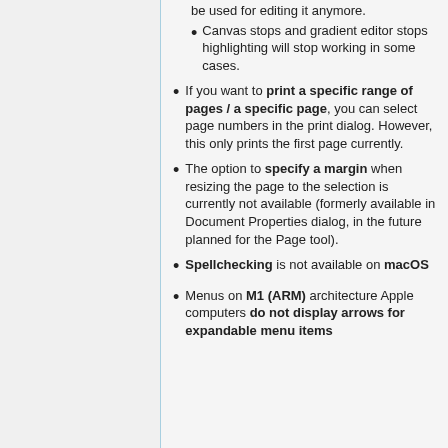be used for editing it anymore. Canvas stops and gradient editor stops highlighting will stop working in some cases.
If you want to print a specific range of pages / a specific page, you can select page numbers in the print dialog. However, this only prints the first page currently.
The option to specify a margin when resizing the page to the selection is currently not available (formerly available in Document Properties dialog, in the future planned for the Page tool).
Spellchecking is not available on macOS
Menus on M1 (ARM) architecture Apple computers do not display arrows for expandable menu items